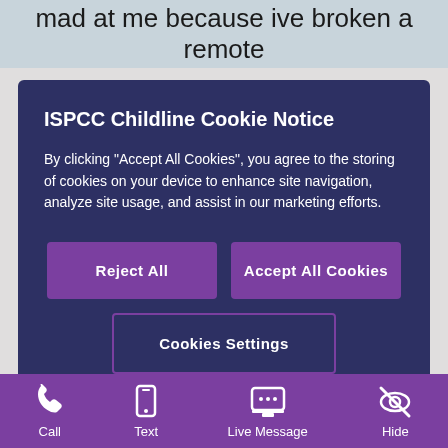mad at me because ive broken a remote
[Figure (screenshot): ISPCC Childline cookie consent overlay with title 'ISPCC Childline Cookie Notice', body text about cookie usage, and three buttons: Reject All, Accept All Cookies, Cookies Settings]
worries with us.
It is perfectly normal to wonder how t... parents things when something has gone wrong for us. Sometimes it can be hard to
[Figure (other): Orange Live Message chat button with speech bubble icon]
Call  Text  Live Message  Hide